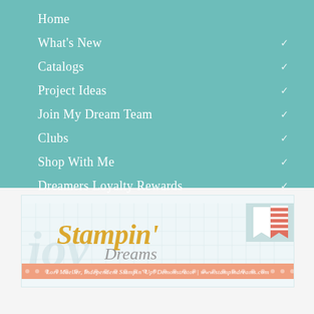Home
What's New
Catalogs
Project Ideas
Join My Dream Team
Clubs
Shop With Me
Dreamers Loyalty Rewards
[Figure (logo): Stampin' Dreams logo banner with peach polka-dot strip reading: Lori Mueller, Independent Stampin' Up! Demonstrator | www.stampindreams.com]